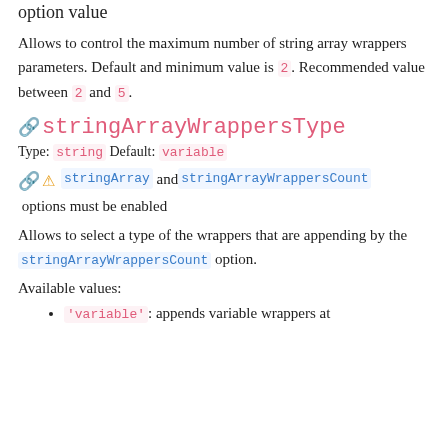option value
Allows to control the maximum number of string array wrappers parameters. Default and minimum value is 2. Recommended value between 2 and 5.
stringArrayWrappersType
Type: string Default: variable
stringArray and stringArrayWrappersCount options must be enabled
Allows to select a type of the wrappers that are appending by the stringArrayWrappersCount option.
Available values:
'variable': appends variable wrappers at